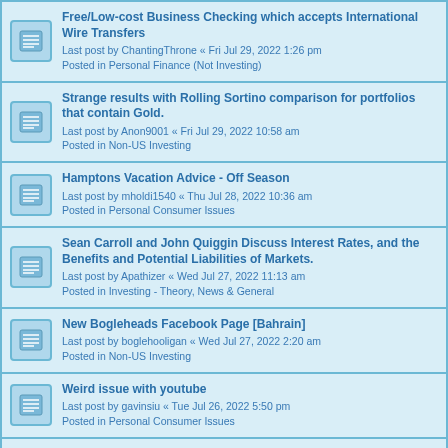Free/Low-cost Business Checking which accepts International Wire Transfers
Last post by ChantingThrone « Fri Jul 29, 2022 1:26 pm
Posted in Personal Finance (Not Investing)
Strange results with Rolling Sortino comparison for portfolios that contain Gold.
Last post by Anon9001 « Fri Jul 29, 2022 10:58 am
Posted in Non-US Investing
Hamptons Vacation Advice - Off Season
Last post by mholdi1540 « Thu Jul 28, 2022 10:36 am
Posted in Personal Consumer Issues
Sean Carroll and John Quiggin Discuss Interest Rates, and the Benefits and Potential Liabilities of Markets.
Last post by Apathizer « Wed Jul 27, 2022 11:13 am
Posted in Investing - Theory, News & General
New Bogleheads Facebook Page [Bahrain]
Last post by boglehooligan « Wed Jul 27, 2022 2:20 am
Posted in Non-US Investing
Weird issue with youtube
Last post by gavinsiu « Tue Jul 26, 2022 5:50 pm
Posted in Personal Consumer Issues
drivekyte - Rental Cars On Demand Delivered To Your Door - Any Experiences?
Last post by DarkHelmetII « Tue Jul 26, 2022 2:34 pm
Posted in Personal Consumer Issues